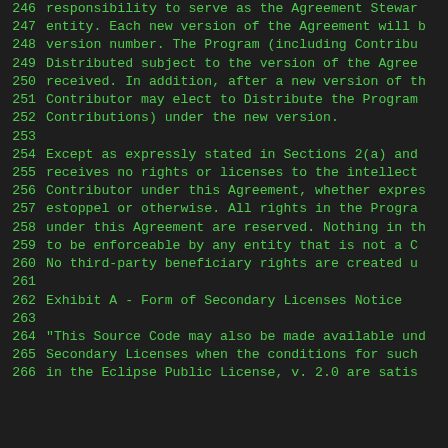246  responsibility to serve as the Agreement Stewar
247  entity. Each new version of the Agreement will b
248  version number. The Program (including Contribu
249  Distributed subject to the version of the Agree
250  received. In addition, after a new version of th
251  Contributor may elect to Distribute the Program
252  Contributions) under the new version.
253
254  Except as expressly stated in Sections 2(a) and
255  receives no rights or licenses to the intellect
256  Contributor under this Agreement, whether expres
257  estoppel or otherwise. All rights in the Progra
258  under this Agreement are reserved. Nothing in t
259  to be enforceable by any entity that is not a C
260  No third-party beneficiary rights are created u
261
262  Exhibit A - Form of Secondary Licenses Notice
263
264  "This Source Code may also be made available und
265  Secondary Licenses when the conditions for such
266  in the Eclipse Public License, v. 2.0 are satis